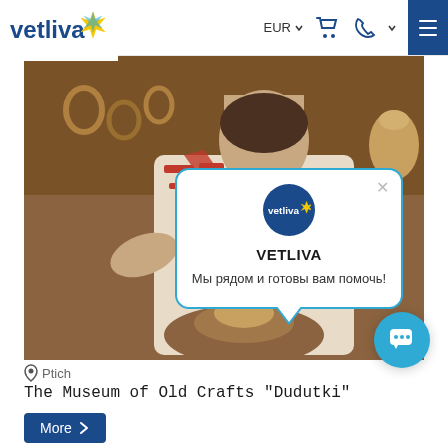vetliva | EUR | Menu
[Figure (photo): Person in traditional Belarusian embroidered costume working on a pottery wheel in a rustic craft workshop]
[Figure (screenshot): Vetliva chat popup with logo circle, bold VETLIVA heading, and Russian text 'Мы рядом и готовы вам помочь!']
Ptich
The Museum of Old Crafts "Dudutki"
More